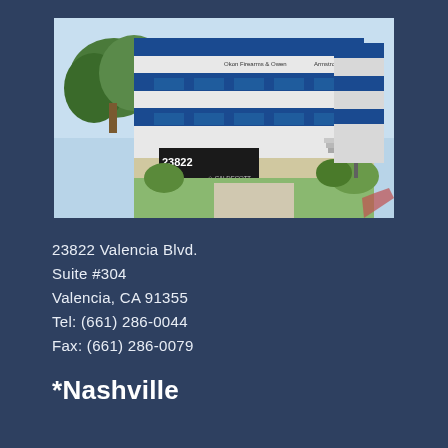[Figure (photo): Exterior photo of a commercial office building at 23822 Valencia Blvd. The building has blue and white horizontal stripe facade. A monument sign in front reads '23822 Troop' and other tenant names. Landscaping with trees and shrubs visible.]
23822 Valencia Blvd.
Suite #304
Valencia, CA 91355
Tel: (661) 286-0044
Fax: (661) 286-0079
*Nashville